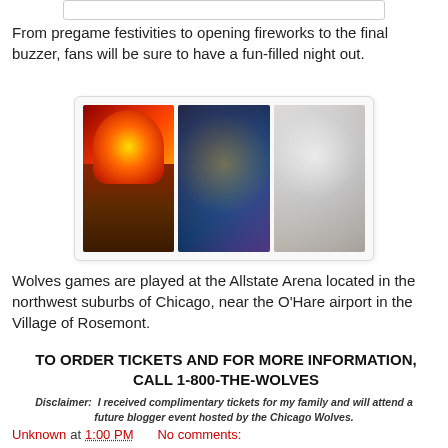[Figure (photo): Three sports event photos side by side: fire/pyrotechnics display, crowd celebrating, and a mascot (wolf character)]
From pregame festivities to opening fireworks to the final buzzer, fans will be sure to have a fun-filled night out.
Wolves games are played at the Allstate Arena located in the northwest suburbs of Chicago, near the O'Hare airport in the Village of Rosemont.
TO ORDER TICKETS AND FOR MORE INFORMATION, CALL 1-800-THE-WOLVES
Disclaimer:  I received complimentary tickets for my family and will attend a future blogger event hosted by the Chicago Wolves.
Unknown at 1:00 PM    No comments: